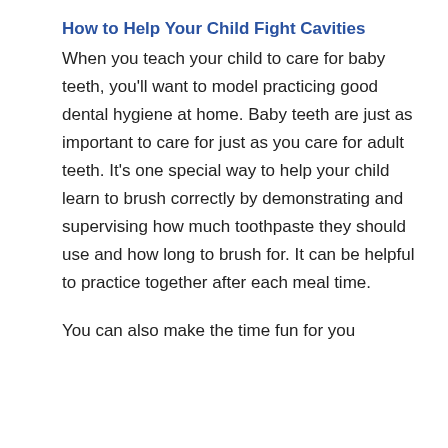How to Help Your Child Fight Cavities
When you teach your child to care for baby teeth, you'll want to model practicing good dental hygiene at home. Baby teeth are just as important to care for just as you care for adult teeth. It's one special way to help your child learn to brush correctly by demonstrating and supervising how much toothpaste they should use and how long to brush for. It can be helpful to practice together after each meal time.
You can also make the time fun for you